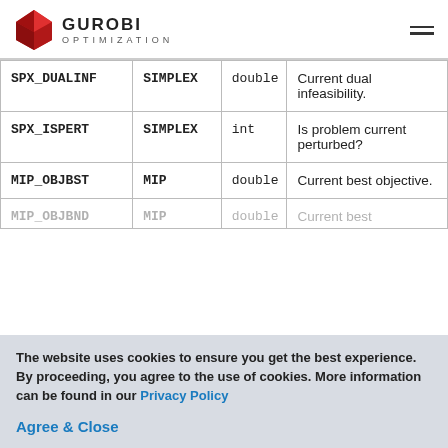GUROBI OPTIMIZATION
| Name | Where | Type | Description |
| --- | --- | --- | --- |
| SPX_DUALINF | SIMPLEX | double | Current dual infeasibility. |
| SPX_ISPERT | SIMPLEX | int | Is problem current perturbed? |
| MIP_OBJBST | MIP | double | Current best objective. |
| MIP_OBJBND | MIP | double | Current best... |
The website uses cookies to ensure you get the best experience. By proceeding, you agree to the use of cookies. More information can be found in our Privacy Policy
Agree & Close